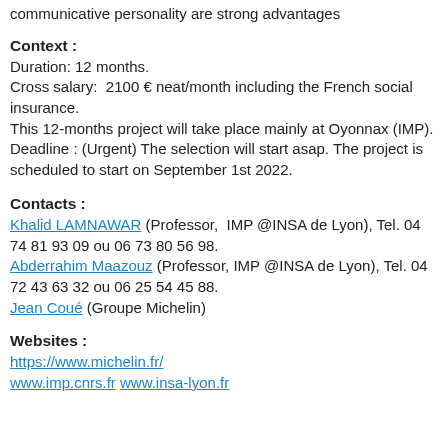communicative personality are strong advantages
Context :
Duration: 12 months.
Cross salary:  2100 € neat/month including the French social insurance.
This 12-months project will take place mainly at Oyonnax (IMP).
Deadline : (Urgent) The selection will start asap. The project is scheduled to start on September 1st 2022.
Contacts :
Khalid LAMNAWAR (Professor,  IMP @INSA de Lyon), Tel. 04 74 81 93 09 ou 06 73 80 56 98.
Abderrahim Maazouz (Professor, IMP @INSA de Lyon), Tel. 04 72 43 63 32 ou 06 25 54 45 88.
Jean Coué (Groupe Michelin)
Websites :
https://www.michelin.fr/
www.imp.cnrs.fr  www.insa-lyon.fr